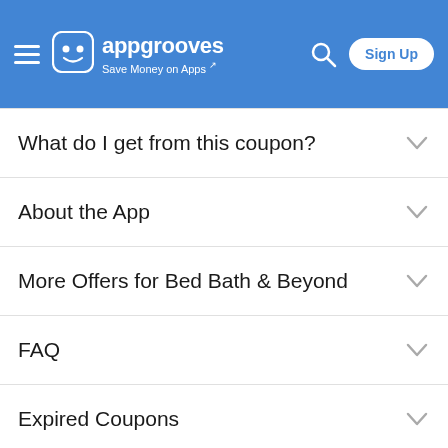appgrooves — Save Money on Apps | Sign Up
What do I get from this coupon?
About the App
More Offers for Bed Bath & Beyond
FAQ
Expired Coupons